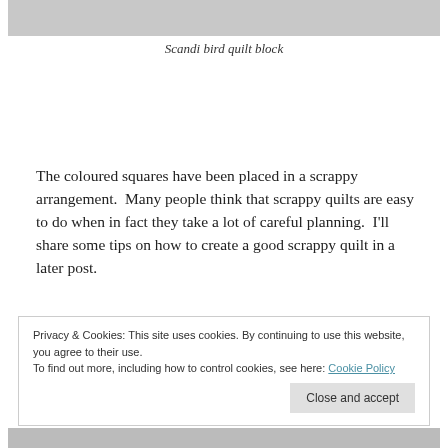[Figure (photo): Top portion of a photo, showing a grey/blurred image at the top of the page]
Scandi bird quilt block
The coloured squares have been placed in a scrappy arrangement.  Many people think that scrappy quilts are easy to do when in fact they take a lot of careful planning.  I'll share some tips on how to create a good scrappy quilt in a later post.
Privacy & Cookies: This site uses cookies. By continuing to use this website, you agree to their use.
To find out more, including how to control cookies, see here: Cookie Policy
Close and accept
[Figure (photo): Bottom portion of a colourful quilt photo visible at the bottom of the page]